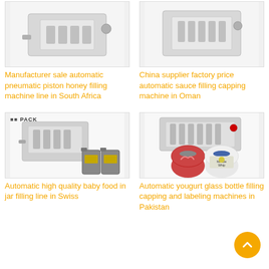[Figure (photo): Top-left product image placeholder - filling machine]
Manufacturer sale automatic pneumatic piston honey filling machine line in South Africa
[Figure (photo): Top-right product image placeholder - sauce filling machine]
China supplier factory price automatic sauce filling capping machine in Oman
[Figure (photo): Bottom-left product image - automatic filling machine with PACK logo and liquid containers]
Automatic high quality baby food in jar filling line in Swiss
[Figure (photo): Bottom-right product image - yogurt glass bottle filling machine with sauce jars]
Automatic yougurt glass bottle filling capping and labeling machines in Pakistan